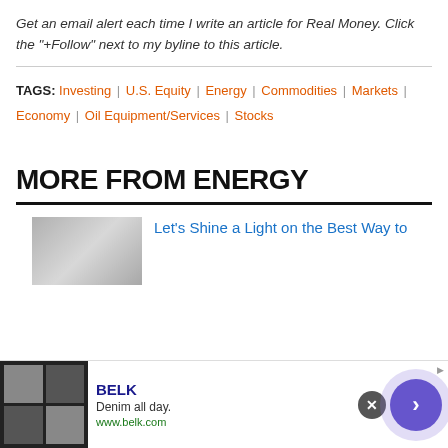Get an email alert each time I write an article for Real Money. Click the "+Follow" next to my byline to this article.
TAGS: Investing | U.S. Equity | Energy | Commodities | Markets | Economy | Oil Equipment/Services | Stocks
MORE FROM ENERGY
Let's Shine a Light on the Best Way to
[Figure (other): Advertisement banner for BELK - Denim all day. www.belk.com with fashion images and navigation arrow button.]